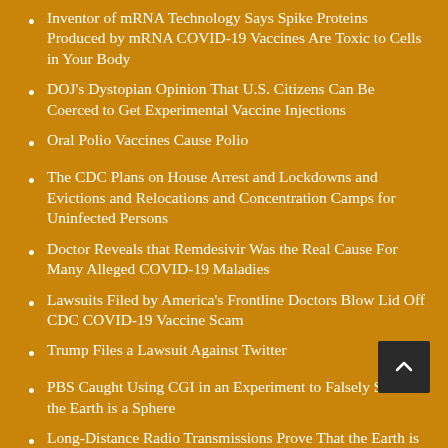Inventor of mRNA Technology Says Spike Proteins Produced by mRNA COVID-19 Vaccines Are Toxic to Cells in Your Body
DOJ’s Dystopian Opinion That U.S. Citizens Can Be Coerced to Get Experimental Vaccine Injections
Oral Polio Vaccines Cause Polio
The CDC Plans on House Arrest and Lockdowns and Evictions and Relocations and Concentration Camps for Uninfected Persons
Doctor Reveals that Remdesivir Was the Real Cause For Many Alleged COVID-19 Maladies
Lawsuits Filed by America's Frontline Doctors Blow Lid Off CDC COVID-19 Vaccine Scam
Trump Files a Lawsuit Against Twitter
PBS Caught Using CGI in an Experiment to Falsely Show the Earth is a Sphere
Long-Distance Radio Transmissions Prove That the Earth is Flat
Face Masks Worn by Children During School Become Teeming with Bacteria and Dangerous Pathogens